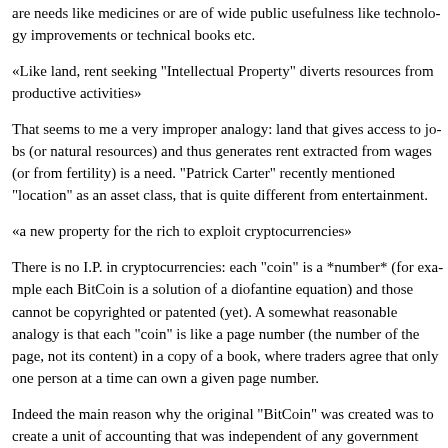are needs like medicines or are of wide public usefulness like technology improvements or technical books etc.
«Like land, rent seeking "Intellectual Property" diverts resources from productive activities»
That seems to me a very improper analogy: land that gives access to jobs (or natural resources) and thus generates rent extracted from wages (or from fertility) is a need. "Patrick Carter" recently mentioned "location" as an asset class, that is quite different from entertainment.
«a new property for the rich to exploit cryptocurrencies»
There is no I.P. in cryptocurrencies: each "coin" is a *number* (for example each BitCoin is a solution of a diofantine equation) and those cannot be copyrighted or patented (yet). A somewhat reasonable analogy is that each "coin" is like a page number (the number of the page, not its content) in a copy of a book, where traders agree that only one person at a time can own a given page number.
Indeed the main reason why the original "BitCoin" was created was to create a unit of accounting that was independent of any government legislation, including I.P., and its software was released without copyright restrictions.
And anyhow nobody is forced to trade in "coins", just as nobody has to watch ms. Johansson earn her wage, and few people end up spending 4